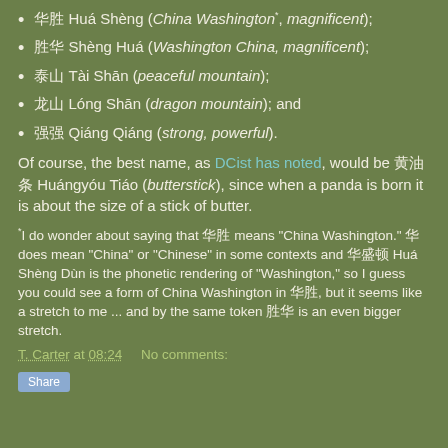华胜 Huá Shèng (China Washington*, magnificent);
胜华 Shèng Huá (Washington China, magnificent);
泰山 Tài Shān (peaceful mountain);
龙山 Lóng Shān (dragon mountain); and
强强 Qiáng Qiáng (strong, powerful).
Of course, the best name, as DCist has noted, would be 黄油条 Huángyóu Tiáo (butterstick), since when a panda is born it is about the size of a stick of butter.
*I do wonder about saying that 华胜 means "China Washington." 华 does mean "China" or "Chinese" in some contexts and 华盛顿 Huá Shèng Dùn is the phonetic rendering of "Washington," so I guess you could see a form of China Washington in 华胜, but it seems like a stretch to me ... and by the same token 胜华 is an even bigger stretch.
T. Carter at 08:24    No comments: